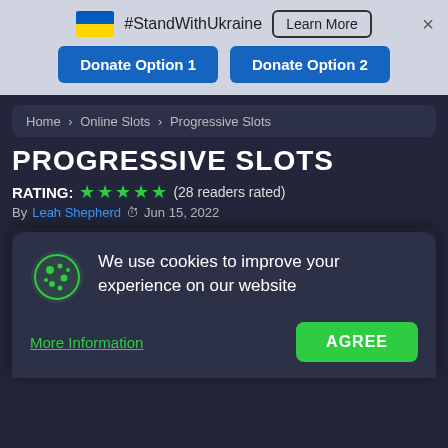[Figure (infographic): Ukraine flag banner with #StandWithUkraine text, Learn More button, close X, and two Donate Option buttons]
Home › Online Slots › Progressive Slots
PROGRESSIVE SLOTS
RATING: ★★★★★ (28 readers rated)
By Leah Shepherd 🕐 Jun 15, 2022
Top 3 Casinos to play for REAL Money
[Figure (screenshot): Casino listing rows showing numbered entries: 1. Yeti Casino logo, 2. CasinoDay logo]
We use cookies to improve your experience on our website
More Information
AGREE